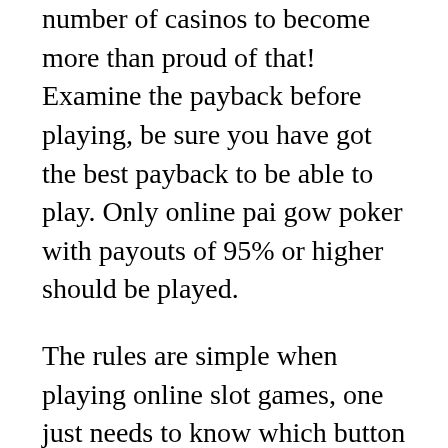number of casinos to become more than proud of that! Examine the payback before playing, be sure you have got the best payback to be able to play. Only online pai gow poker with payouts of 95% or higher should be played.
The rules are simple when playing online slot games, one just needs to know which button flow over to win or not there are software developers that have included between four to six reels and longer to twenty five pay wires. There are even bonus games; these create game a bit more challenging. Comparing the winning combinations, the payout percentages before starting the game